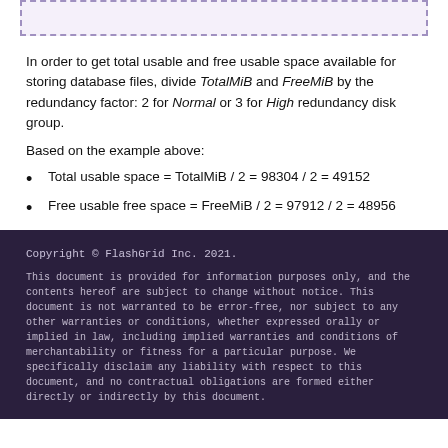[Figure (other): Dashed border box at top of page, light purple background]
In order to get total usable and free usable space available for storing database files, divide TotalMiB and FreeMiB by the redundancy factor: 2 for Normal or 3 for High redundancy disk group.
Based on the example above:
Total usable space = TotalMiB / 2 = 98304 / 2 = 49152
Free usable free space = FreeMiB / 2 = 97912 / 2 = 48956
Copyright © FlashGrid Inc. 2021.

This document is provided for information purposes only, and the contents hereof are subject to change without notice. This document is not warranted to be error-free, nor subject to any other warranties or conditions, whether expressed orally or implied in law, including implied warranties and conditions of merchantability or fitness for a particular purpose. We specifically disclaim any liability with respect to this document, and no contractual obligations are formed either directly or indirectly by this document.